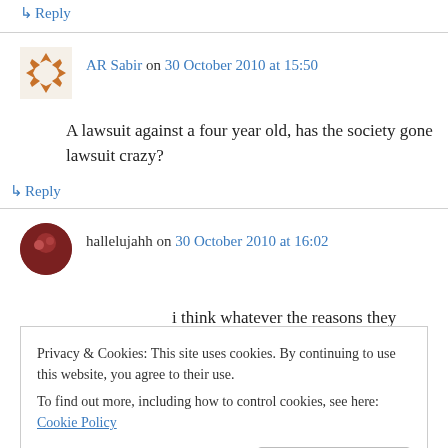↳ Reply
AR Sabir on 30 October 2010 at 15:50
A lawsuit against a four year old, has the society gone lawsuit crazy?
↳ Reply
hallelujahh on 30 October 2010 at 16:02
i think whatever the reasons they sued (funeral
Privacy & Cookies: This site uses cookies. By continuing to use this website, you agree to their use.
To find out more, including how to control cookies, see here: Cookie Policy
Close and accept
probably been riding her bike for over a decade